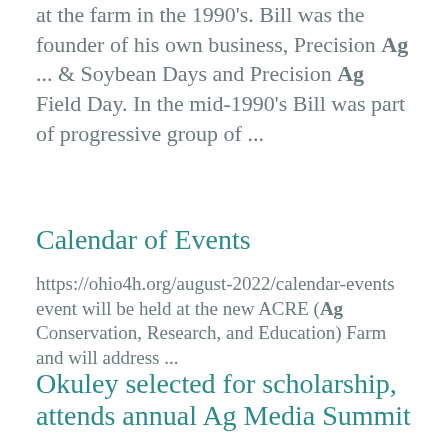at the farm in the 1990's. Bill was the founder of his own business, Precision Ag ... & Soybean Days and Precision Ag Field Day. In the mid-1990's Bill was part of progressive group of ...
Calendar of Events
https://ohio4h.org/august-2022/calendar-events event will be held at the new ACRE (Ag Conservation, Research, and Education) Farm and will address ...
Okuley selected for scholarship, attends annual Ag Media Summit